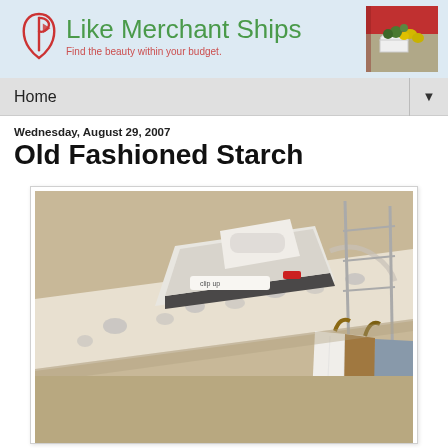Like Merchant Ships — Find the beauty within your budget.
Home
Wednesday, August 29, 2007
Old Fashioned Starch
[Figure (photo): An iron resting on an ironing board covered with a blue and white toile ironing board cover, with clothes hanging on wooden hangers visible in the background.]